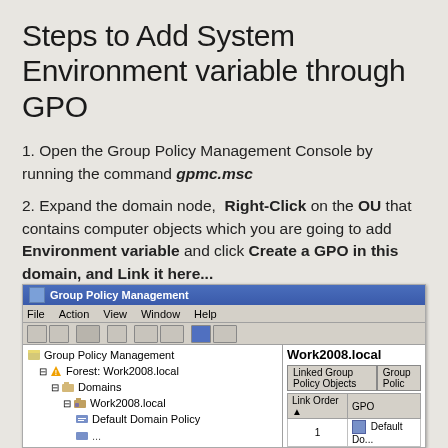Steps to Add System Environment variable through GPO
1. Open the Group Policy Management Console by running the command gpmc.msc
2. Expand the domain node, Right-Click on the OU that contains computer objects which you are going to add Environment variable and click Create a GPO in this domain, and Link it here...
[Figure (screenshot): Screenshot of Group Policy Management console showing tree with Forest: Work2008.local, Domains, Work2008.local, Default Domain Policy nodes, and right panel showing Work2008.local with Linked Group Policy Objects tab and Link Order/GPO columns with Default Do... entry]